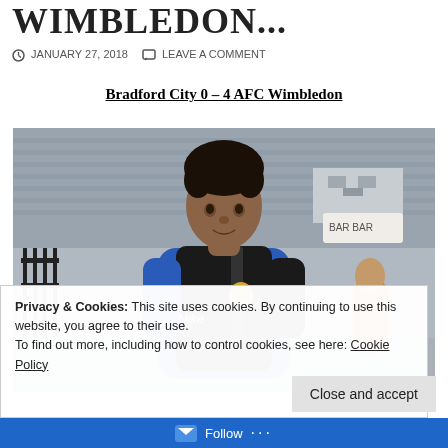WIMBLEDON...
JANUARY 27, 2018   LEAVE A COMMENT
Bradford City 0 – 4 AFC Wimbledon
[Figure (photo): A footballer wearing a blue jacket and black Nike vest with a badge, standing outdoors near a stadium. The background shows bleachers and an overcast sky.]
Privacy & Cookies: This site uses cookies. By continuing to use this website, you agree to their use.
To find out more, including how to control cookies, see here: Cookie Policy
Close and accept
Follow ...